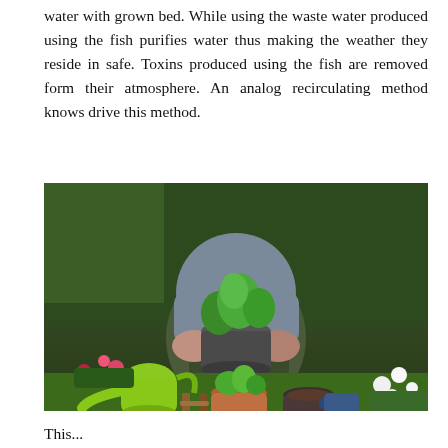water with grown bed. While using the waste water produced using the fish purifies water thus making the weather they reside in safe. Toxins produced using the fish are removed form their atmosphere. An analog recirculating method knows drive this method.
[Figure (photo): A person in gardening gloves crouching in a garden, holding a small potted plant with green leaves. In the foreground are a bright green watering can, a terracotta pot with herbs, a dark pot with soil, and white flowers to the right. Pink and red flowers are visible in the background along with tall grasses.]
This...